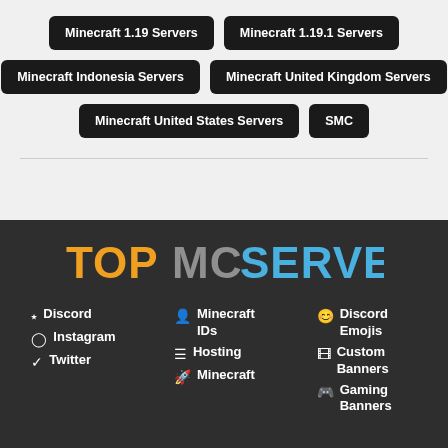Minecraft 1.19 Servers
Minecraft 1.19.1 Servers
Minecraft Indonesia Servers
Minecraft United Kingdom Servers
Minecraft United States Servers
SMC
[Figure (logo): TopMCServers logo with orange TOP, gray MC, and blue SERVERS text in Minecraft block style]
Discord
Instagram
Twitter
Minecraft IDs
Hosting
Minecraft
Discord Emojis
Custom Banners
Gaming Banners